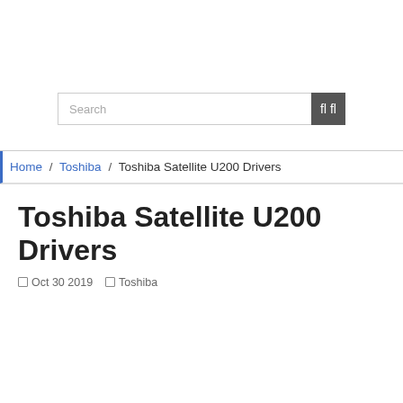[Figure (screenshot): Search bar with a text input field showing placeholder text 'Search' and a dark grey search button with a magnifying glass icon]
Home / Toshiba / Toshiba Satellite U200 Drivers
Toshiba Satellite U200 Drivers
Oct 30 2019   Toshiba